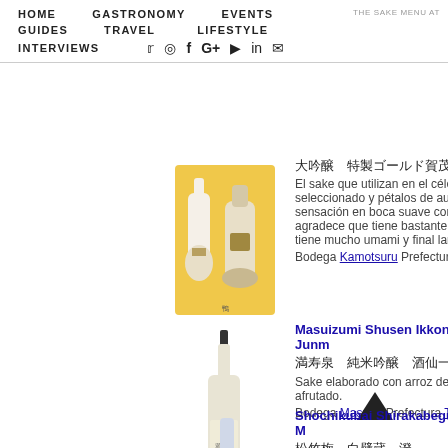HOME  GASTRONOMY  EVENTS  THE SAKE MENU AT  GUIDES  TRAVEL  LIFESTYLE  INTERVIEWS
[Figure (photo): Kamotsuru Tokusei Gold Daiginjo sake bottle in yellow gift box]
大吟醸　特製ゴールド賀茂鶴
El sake que utilizan en el célébr seleccionado y pétalos de autén sensación en boca suave como agradece que tiene bastante cu tiene mucho umami y final largo
Bodega Kamotsuru Prefectura H
[Figure (photo): Masuizumi Shusen Ikkon Junmai Ginjo sake bottle]
Masuizumi Shusen Ikkon Junm
満寿泉　純米吟醸　酒仙一献
Sake elaborado con arroz de va afrutado.
Bodega Masuda Prefectura Toy
[Figure (other): Scroll-to-top arrow icon]
Shochikubai Shirakabegura M
松竹梅　白壁蔵　澄
[Figure (photo): Shochikubai Shirakabegura sake bottle (partial, bottom of page)]